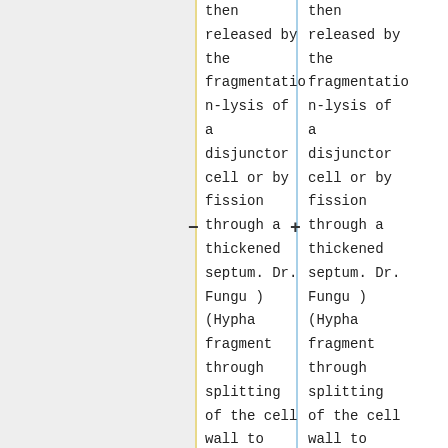then released by the fragmentation-lysis of a disjunctor cell or by fission through a thickened septum. Dr. Fungu ) (Hypha fragment through splitting of the cell wall to form cells that behave as spores.
then released by the fragmentation-lysis of a disjunctor cell or by fission through a thickened septum. Dr. Fungu ) (Hypha fragment through splitting of the cell wall to form cells that behave as spores.